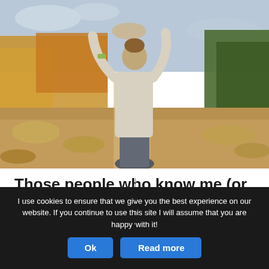[Figure (photo): Outdoor photo of a woman seen from behind, stretching her arms above her head, wearing a light grey long-sleeve top and dark athletic bottoms. The background shows an autumn landscape with golden-yellow trees and dry grasses under a partly cloudy sky.]
Those people who know me (or have ever stalked me on social media) will know that I don't do exercise. Or any kind. Including walking. I'm the
I use cookies to ensure that we give you the best experience on our website. If you continue to use this site I will assume that you are happy with it!